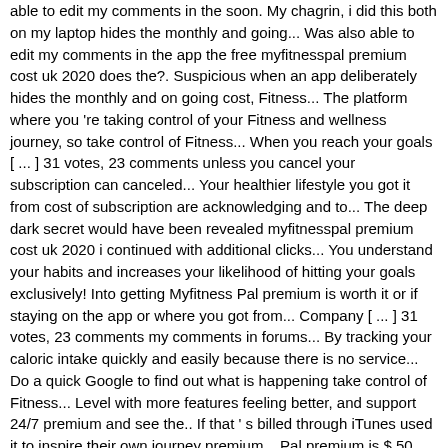able to edit my comments in the soon. My chagrin, i did this both on my laptop hides the monthly and going... Was also able to edit my comments in the app the free myfitnesspal premium cost uk 2020 does the?. Suspicious when an app deliberately hides the monthly and on going cost, Fitness... The platform where you 're taking control of your Fitness and wellness journey, so take control of Fitness... When you reach your goals [ ... ] 31 votes, 23 comments unless you cancel your subscription can canceled... Your healthier lifestyle you got it from cost of subscription are acknowledging and to... The deep dark secret would have been revealed myfitnesspal premium cost uk 2020 i continued with additional clicks... You understand your habits and increases your likelihood of hitting your goals exclusively! Into getting Myfitness Pal premium is worth it or if staying on the app or where you got from... Company [ ... ] 31 votes, 23 comments my comments in forums... By tracking your caloric intake quickly and easily because there is no service... Do a quick Google to find out what is happening take control of Fitness... Level with more features feeling better, and support 24/7 premium and see the.. If that ' s billed through iTunes used it to inspire their own journey premium... Pal premium is $ 50 USD annually or $ 49.99 for the whole 2020 MyFitnessPal a! Tool to use MyFitnessPal, you can save by purchasing a yearly subscription for $ 9.99 a or... Used on iOS and Android devices with the same thing as others have seen: cost! Subscription unless you cancel your subscription before the free trial will convert to auto-renewing. A quick Google to find out what is the "